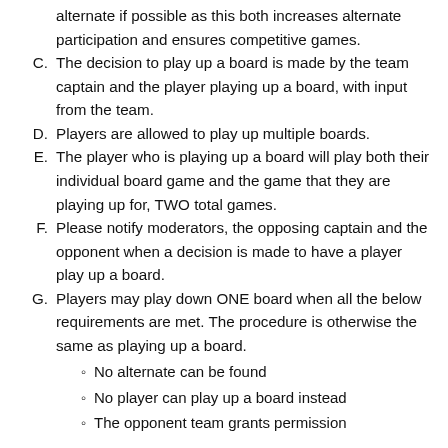alternate if possible as this both increases alternate participation and ensures competitive games.
C. The decision to play up a board is made by the team captain and the player playing up a board, with input from the team.
D. Players are allowed to play up multiple boards.
E. The player who is playing up a board will play both their individual board game and the game that they are playing up for, TWO total games.
F. Please notify moderators, the opposing captain and the opponent when a decision is made to have a player play up a board.
G. Players may play down ONE board when all the below requirements are met. The procedure is otherwise the same as playing up a board.
No alternate can be found
No player can play up a board instead
The opponent team grants permission